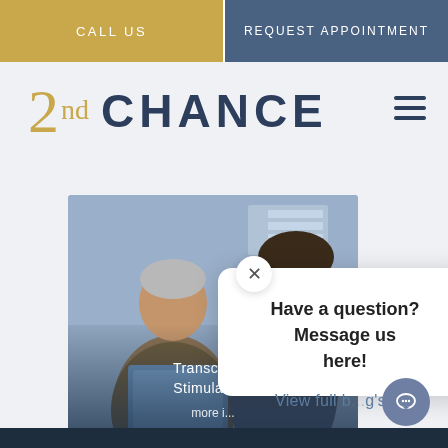CALL US | REQUEST APPOINTMENT
2nd CHANCE
[Figure (photo): Two men in a medical consultation setting — an older doctor and a younger patient looking at documents. Overlaid text reads 'Transcranial Stimulation' with 'more in...' below.]
Have a question? Message us here!
View full b[...]g's